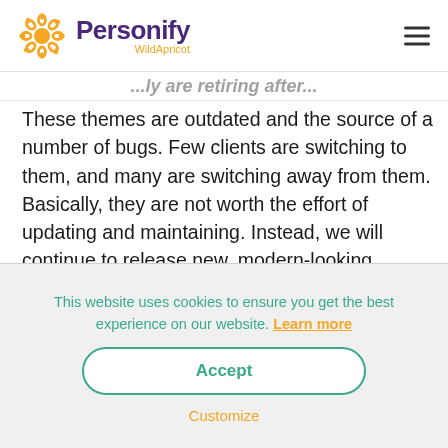Personify WildApricot
These themes are outdated and the source of a number of bugs. Few clients are switching to them, and many are switching away from them. Basically, they are not worth the effort of updating and maintaining. Instead, we will continue to release new, modern-looking
This website uses cookies to ensure you get the best experience on our website. Learn more
Accept
Customize